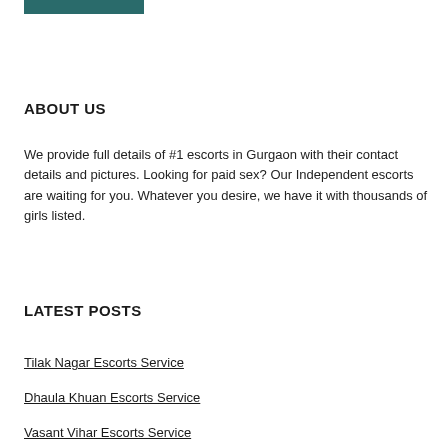[Figure (other): Teal/dark green horizontal bar at the top of the page]
ABOUT US
We provide full details of #1 escorts in Gurgaon with their contact details and pictures. Looking for paid sex? Our Independent escorts are waiting for you. Whatever you desire, we have it with thousands of girls listed.
LATEST POSTS
Tilak Nagar Escorts Service
Dhaula Khuan Escorts Service
Vasant Vihar Escorts Service